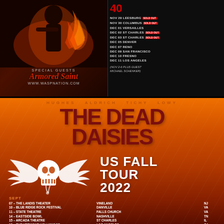[Figure (illustration): WASP concert tour promotional flyer top half with fire/performer image on left and tour dates on right. Special guests Armored Saint listed.]
SPECIAL GUESTS
Armored Saint
WWW.WASPNATION.COM
NOV 29 LEESBURG [SOLD OUT]
NOV 30 COLUMBUS [SOLD OUT]
DEC 01 VERSAILLES
DEC 02 ST CHARLES [SOLD OUT]
DEC 03 ST CHARLES [SOLD OUT]
DEC 05 DENVER
DEC 07 RENO
DEC 09 SAN FRANCISCO
DEC 10 FRESNO
DEC 11 LOS ANGELES
(NOV 2-6 PLUS GUEST MICHAEL SCHENKER)
[Figure (illustration): The Dead Daisies US Fall Tour 2022 promotional poster with orange/red gradient background, skull with wings logo, band members names: HUGHES ALDRICH TICHY LOWY]
HUGHES  ALDRICH  TICHY  LOWY
THE DEAD DAISIES
US FALL TOUR 2022
SEPT
07 - THE LANDIS THEATER    VINELAND    NJ
10 - BLUE RIDGE ROCK FESTIVAL    DANVILLE    VA
11 - STATE THEATRE    FALLS CHURCH    VA
14 - EASTSIDE BOWL    NASHVILLE    TN
15 - ARCADA THEATRE    ST CHARLES    IL
18 - THE Vermont HOLLYWOOD    LOS ANGELES    CA
21 - GOLDFIELD TRADING POST    ROSEVILLE    CA
23 - BOSSANOVA BALLROOM    PORTLAND    OR
24 - THE CROCODILE    SEATTLE    WA